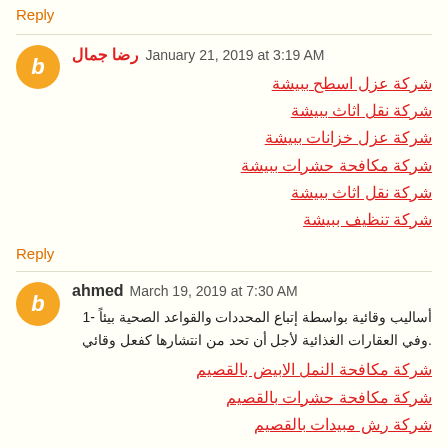Reply
رضا جمال January 21, 2019 at 3:19 AM
شركة عزل اسطح ببيشة
شركة نقل اثاث ببيشة
شركة عزل خزانات ببيشة
شركة مكافحة حشرات ببيشة
شركة نقل اثاث ببيشة
شركة تنظيف ببيشة
Reply
ahmed March 19, 2019 at 7:30 AM
1- أساليب وقائية بواسطة إتباع المحددات والقواعد الصحية بيئاً وفي العقارات الغذائية لأجل أن تحد من انتشارها كفعل وقائي.
شركة مكافحة النمل الابيض بالقصيم
شركة مكافحة حشرات بالقصيم
شركة رش مبيدات بالقصيم